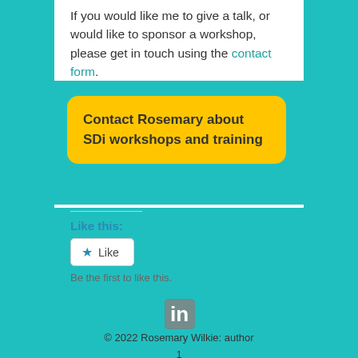If you would like me to give a talk, or would like to sponsor a workshop, please get in touch using the contact form.
Contact Rosemary about SDi workshops and training
Like this:
Like
Be the first to like this.
[Figure (logo): LinkedIn logo icon]
© 2022 Rosemary Wilkie: author
1